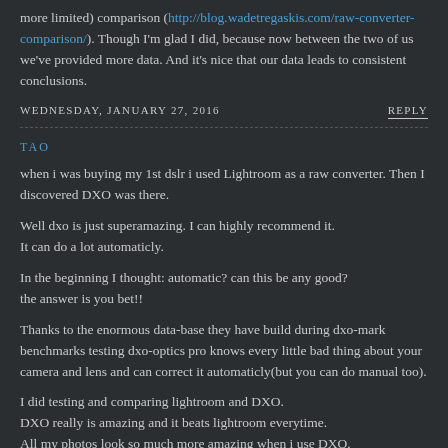more limited) comparison (http://blog.wadetregaskis.com/raw-converter-comparison/). Though I'm glad I did, because now between the two of us we've provided more data. And it's nice that our data leads to consistent conclusions.
WEDNESDAY, JANUARY 27, 2016
REPLY
TAO
when i was buying my 1st dslr i used Lightroom as a raw converter. Then I discovered DXO was there.
Well dxo is just superamazing. I can highly recommend it.
It can do a lot automaticly.
In the beginning I thought: automatic? can this be any good?
the answer is you bet!!
Thanks to the enormous data-base they have build during dxo-mark benchmarks testing dxo-optics pro knows every little bad thing about your camera and lens and can correct it automaticly(but you can do manual too).
I did testing and comparing lightroom and DXO.
DXO really is amazing and it beats lightroom everytime.
All my photos look so much more amazing when i use DXO.